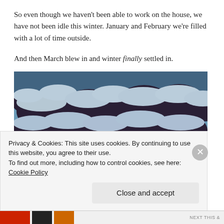So even though we haven't been able to work on the house, we have not been idle this winter. January and February we're filled with a lot of time outside.
And then March blew in and winter finally settled in.
[Figure (photo): Snow-covered pine tree branches against a blue-tinted winter sky]
Privacy & Cookies: This site uses cookies. By continuing to use this website, you agree to their use.
To find out more, including how to control cookies, see here: Cookie Policy
Close and accept